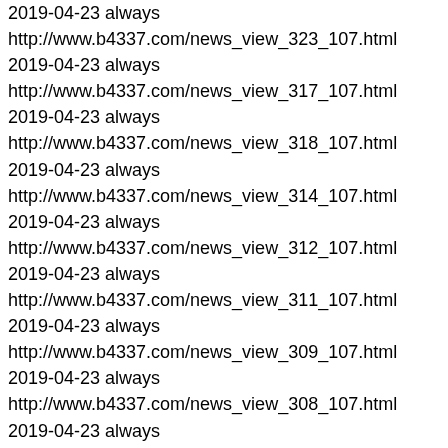2019-04-23 always http://www.b4337.com/news_view_323_107.html 2019-04-23 always http://www.b4337.com/news_view_317_107.html 2019-04-23 always http://www.b4337.com/news_view_318_107.html 2019-04-23 always http://www.b4337.com/news_view_314_107.html 2019-04-23 always http://www.b4337.com/news_view_312_107.html 2019-04-23 always http://www.b4337.com/news_view_311_107.html 2019-04-23 always http://www.b4337.com/news_view_309_107.html 2019-04-23 always http://www.b4337.com/news_view_308_107.html 2019-04-23 always http://www.b4337.com/news_view_307_107.html 2019-04-23 always http://www.b4337.com/news_view_306_107.html 2019-04-23 always http://www.b4337.com/news_view_303_107.html 2019-04-23 always http://www.b4337.com/news_view_302_107.html 2019-04-23 always http://www.b4337.com/news_view_299_107.html 2019-04-23 always http://www.b4337.com/news_view_296_107.html 2019-04-23 always http://www.b4337.com/image_view_102_111.html 2019-04-23 always http://www.b4337.com/news_view_295_107.html 2019-04-23 always http://www.b4337.com/news_view_290_107.html 2019-04-23 always http://www.b4337.com/news_view_292_107.html 2019-04-23 always http://www.b4337.com/news_view_288_107.html 2019-04-23